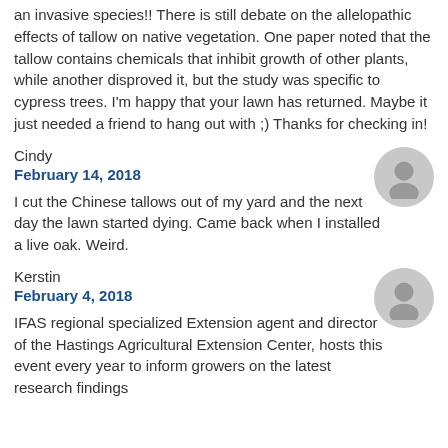an invasive species!! There is still debate on the allelopathic effects of tallow on native vegetation. One paper noted that the tallow contains chemicals that inhibit growth of other plants, while another disproved it, but the study was specific to cypress trees. I'm happy that your lawn has returned. Maybe it just needed a friend to hang out with ;) Thanks for checking in!
Cindy
February 14, 2018
I cut the Chinese tallows out of my yard and the next day the lawn started dying. Came back when I installed a live oak. Weird.
Kerstin
February 4, 2018
IFAS regional specialized Extension agent and director of the Hastings Agricultural Extension Center, hosts this event every year to inform growers on the latest research findings